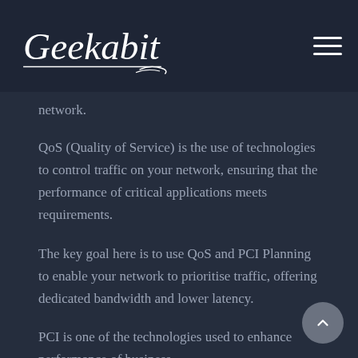Geekabit
network.
QoS (Quality of Service) is the use of technologies to control traffic on your network, ensuring that the performance of critical applications meets requirements.
The key goal here is to use QoS and PCI Planning to enable your network to prioritise traffic, offering dedicated bandwidth and lower latency.
PCI is one of the technologies used to enhance performance of business